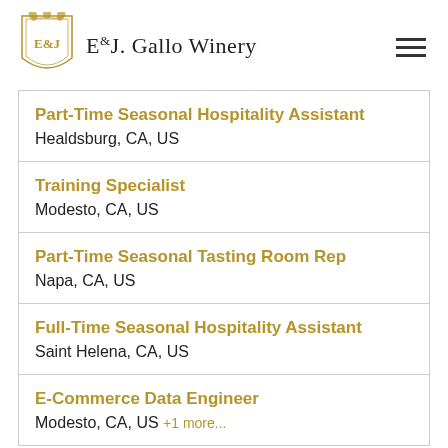[Figure (logo): E&J Gallo Winery logo with crest and text]
Part-Time Seasonal Hospitality Assistant
Healdsburg, CA, US
Training Specialist
Modesto, CA, US
Part-Time Seasonal Tasting Room Rep
Napa, CA, US
Full-Time Seasonal Hospitality Assistant
Saint Helena, CA, US
E-Commerce Data Engineer
Modesto, CA, US +1 more...